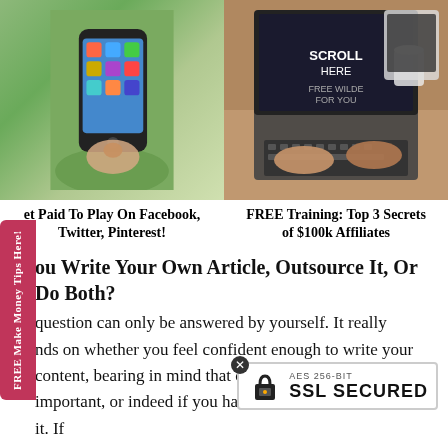[Figure (photo): Hand holding a smartphone showing app icons, outdoors with green background]
[Figure (photo): Hands typing on a laptop keyboard with tablet and mug visible on wooden desk]
et Paid To Play On Facebook, Twitter, Pinterest!
FREE Training: Top 3 Secrets of $100k Affiliates
ou Write Your Own Article, Outsource It, Or Do Both?
question can only be answered by yourself. It really nds on whether you feel confident enough to write your content, bearing in mind that content is king and very important, or indeed if you have the finance to outsource it. If anyone told me when I first started that I would be writing articles, blogs and emails, I would adventure. However to be honest I haven't found it as difficult
[Figure (other): SSL Secured badge: AES 256-BIT SSL SECURED with padlock icon]